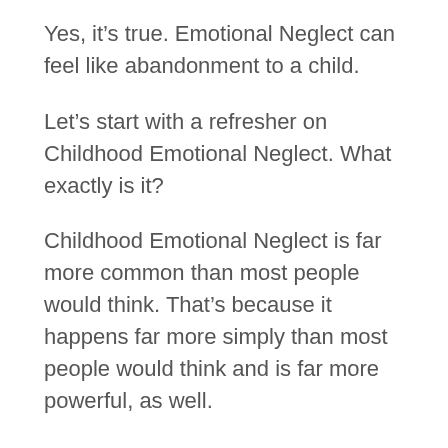Yes, it's true. Emotional Neglect can feel like abandonment to a child.
Let's start with a refresher on Childhood Emotional Neglect. What exactly is it?
Childhood Emotional Neglect is far more common than most people would think. That's because it happens far more simply than most people would think and is far more powerful, as well.
Childhood Emotional Neglect or CEN happens when the parents fail to respond